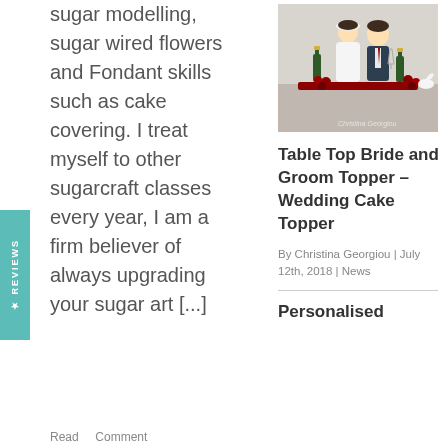sugar modelling, sugar wired flowers and Fondant skills such as cake covering. I treat myself to other sugarcraft classes every year, I am a firm believer of always upgrading your sugar art [...]
[Figure (photo): Photo of a cake topper showing a bride and groom figurine with champagne bottles and red roses on a table display]
Table Top Bride and Groom Topper – Wedding Cake Topper
By Christina Georgiou | July 12th, 2018 | News
Personalised
Read   Comment